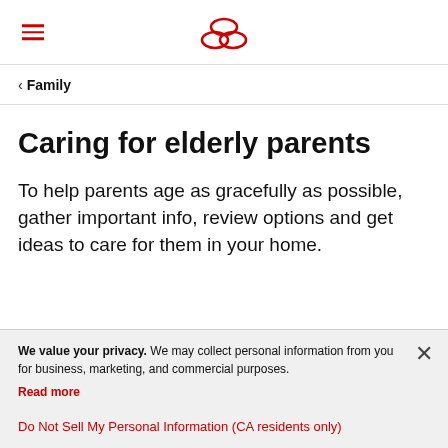[Hamburger menu icon] [Allstate logo]
< Family
Caring for elderly parents
To help parents age as gracefully as possible, gather important info, review options and get ideas to care for them in your home.
We value your privacy. We may collect personal information from you for business, marketing, and commercial purposes. Read more
Do Not Sell My Personal Information (CA residents only)